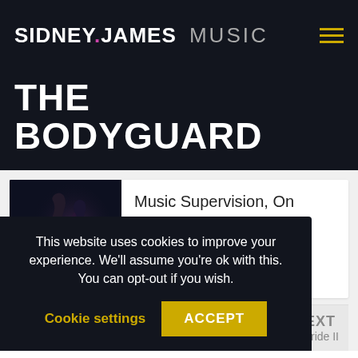SIDNEY JAMES MUSIC
THE BODYGUARD
[Figure (photo): Movie poster for The Bodyguard featuring Kevin Costner and Whitney Houston embracing, dark blue/purple toned image]
Music Supervision, On Camera Scenes
NEXT
er of the Bride II
This website uses cookies to improve your experience. We'll assume you're ok with this. You can opt-out if you wish.
Cookie settings   ACCEPT